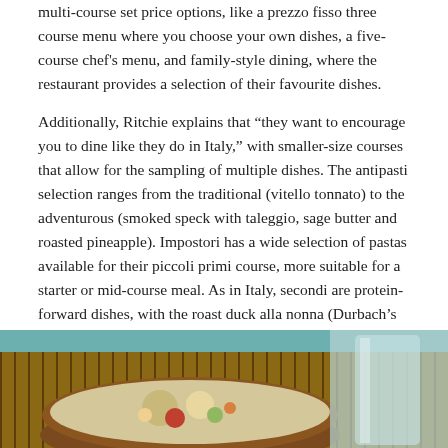multi-course set price options, like a prezzo fisso three course menu where you choose your own dishes, a five-course chef's menu, and family-style dining, where the restaurant provides a selection of their favourite dishes.
Additionally, Ritchie explains that “they want to encourage you to dine like they do in Italy,” with smaller-size courses that allow for the sampling of multiple dishes. The antipasti selection ranges from the traditional (vitello tonnato) to the adventurous (smoked speck with taleggio, sage butter and roasted pineapple). Impostori has a wide selection of pastas available for their piccoli primi course, more suitable for a starter or mid-course meal. As in Italy, secondi are protein-forward dishes, with the roast duck alla nonna (Durbach’s own grandmother’s recipe) as a standout.
[Figure (photo): A photo showing a bowl of food (appears to be a salad or mixed dish) on a bamboo/wooden mat surface, with a glass visible on the right side. The top background shows a teal/turquoise wall or surface.]